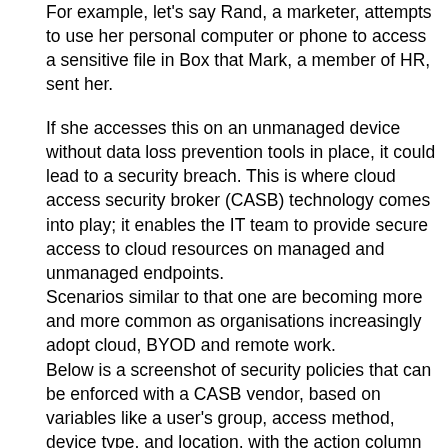For example, let's say Rand, a marketer, attempts to use her personal computer or phone to access a sensitive file in Box that Mark, a member of HR, sent her.
If she accesses this on an unmanaged device without data loss prevention tools in place, it could lead to a security breach. This is where cloud access security broker (CASB) technology comes into play; it enables the IT team to provide secure access to cloud resources on managed and unmanaged endpoints.
Scenarios similar to that one are becoming more and more common as organisations increasingly adopt cloud, BYOD and remote work.
Below is a screenshot of security policies that can be enforced with a CASB vendor, based on variables like a user's group, access method, device type, and location, with the action column showing the kind of